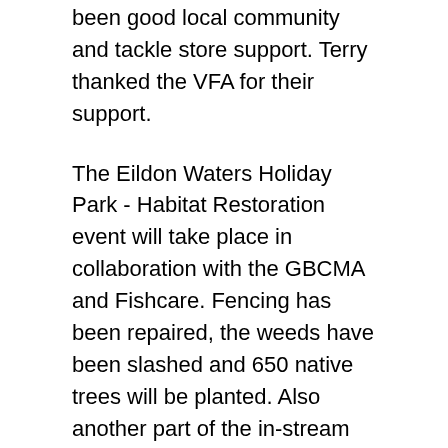been good local community and tackle store support. Terry thanked the VFA for their support.
The Eildon Waters Holiday Park - Habitat Restoration event will take place in collaboration with the GBCMA and Fishcare. Fencing has been repaired, the weeds have been slashed and 650 native trees will be planted. Also another part of the in-stream woody habitat installation and boulder seeding is to take place. Fishcare will be bringing along 20-30 youngsters to participate. A date in May will be selected for this event.
In May, the Nariel Trees for Trout week will take place, where 10,000 trees will be planted as